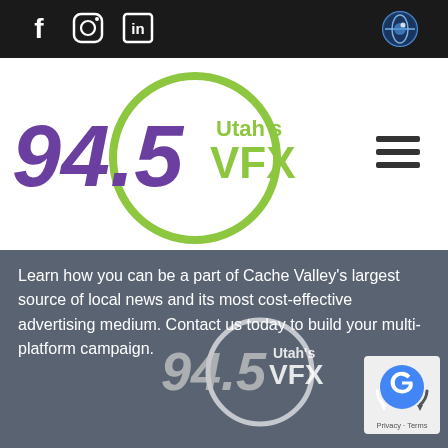Social media icons (Facebook, Instagram, LinkedIn) and eye/globe icon in black top bar
[Figure (logo): 94.5 Utah's VFX radio station logo — large purple italic '94.5' text with 'Utah's VFX' in green inside a green circle]
[Figure (other): Hamburger menu icon (three horizontal lines)]
Learn how you can be a part of Cache Valley's largest source of local news and its most cost-effective advertising medium. Contact us today to build your multi-platform campaign.
[Figure (logo): 94.5 Utah's VFX radio station logo in white/gray tones on gray background]
[Figure (other): Google reCAPTCHA badge with blue 'G' logo and 'Privacy · Terms' text]